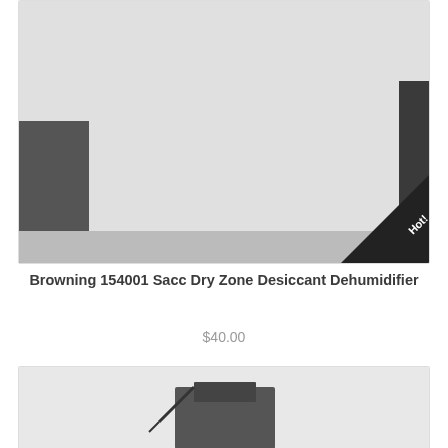[Figure (photo): Product photo of Browning 154001 Sacc Dry Zone Desiccant Dehumidifier box with circular openings, with a 'Hot!' diagonal banner in bottom right corner]
Browning 154001 Sacc Dry Zone Desiccant Dehumidifier
$40.00
[Figure (photo): Partial product photo visible at bottom of page, appears to be a dark metallic item]